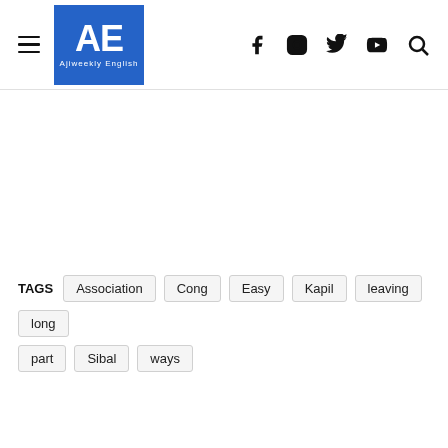AE Ajiweekly English
TAGS: Association, Cong, Easy, Kapil, leaving, long, part, Sibal, ways